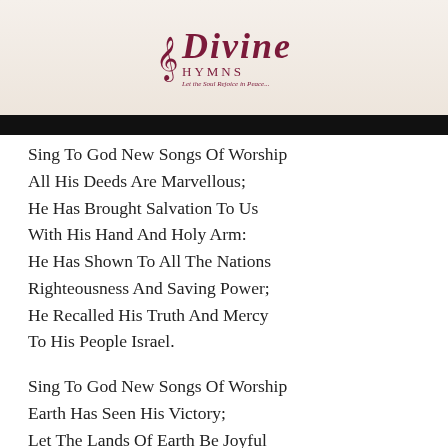[Figure (logo): Divine Hymns logo with treble clef and tagline 'Let the Soul Rejoice in Peace...' in dark red/maroon color on a light floral background]
Sing To God New Songs Of Worship
All His Deeds Are Marvellous;
He Has Brought Salvation To Us
With His Hand And Holy Arm:
He Has Shown To All The Nations
Righteousness And Saving Power;
He Recalled His Truth And Mercy
To His People Israel.
Sing To God New Songs Of Worship
Earth Has Seen His Victory;
Let The Lands Of Earth Be Joyful
Praising Him With Thankfulness:
Sound Upon The Harp His Praises,
Play To Him With Melody;
Let The Trumpets Sound His Triumph,
Show Your Joy To God The King!